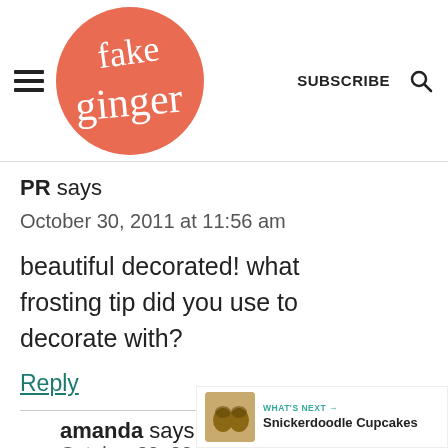Fake Ginger — SUBSCRIBE [search]
PR says
October 30, 2011 at 11:56 am
beautiful decorated! what frosting tip did you use to decorate with?
Reply
amanda says
October 30, 2011 at 12:02